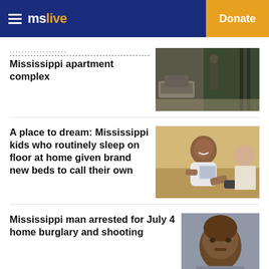mslive | Donate
Mississippi apartment complex
[Figure (photo): Outdoor scene with cars and a person in military uniform near a gate]
A place to dream: Mississippi kids who routinely sleep on floor at home given brand new beds to call their own
[Figure (photo): A smiling young girl holding a book, lying on a bed]
Mississippi man arrested for July 4 home burglary and shooting
[Figure (photo): Mugshot of a man]